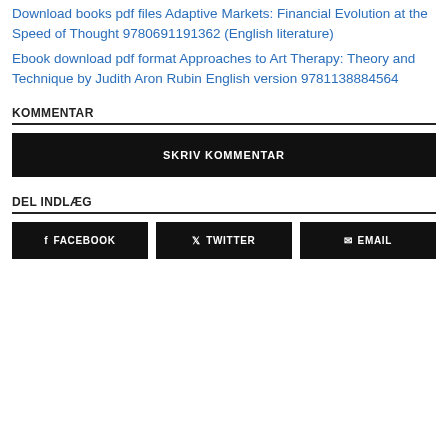Download books pdf files Adaptive Markets: Financial Evolution at the Speed of Thought 9780691191362 (English literature)
Ebook download pdf format Approaches to Art Therapy: Theory and Technique by Judith Aron Rubin English version 9781138884564
KOMMENTAR
SKRIV KOMMENTAR
DEL INDLÆG
FACEBOOK
TWITTER
EMAIL